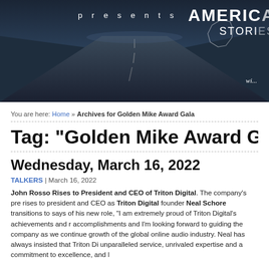[Figure (photo): Dark blue-toned banner image of a road receding into the distance with text 'presents' on the left and 'AMERICA STORI...' on the right, partial map outline visible]
You are here: Home » Archives for Golden Mike Award Gala
Tag: "Golden Mike Award Gala"
Wednesday, March 16, 2022
TALKERS | March 16, 2022
John Rosso Rises to President and CEO of Triton Digital. The company's pre... rises to president and CEO as Triton Digital founder Neal Schore transitions to... says of his new role, "I am extremely proud of Triton Digital's achievements and r... accomplishments and I'm looking forward to guiding the company as we continue... growth of the global online audio industry. Neal has always insisted that Triton Di... unparalleled service, unrivaled expertise and a commitment to excellence, and l...